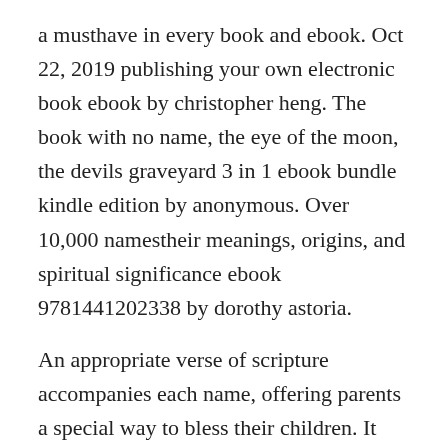a musthave in every book and ebook. Oct 22, 2019 publishing your own electronic book ebook by christopher heng. The book with no name, the eye of the moon, the devils graveyard 3 in 1 ebook bundle kindle edition by anonymous. Over 10,000 namestheir meanings, origins, and spiritual significance ebook 9781441202338 by dorothy astoria.
An appropriate verse of scripture accompanies each name, offering parents a special way to bless their children. It should be chaos, it should be unmanageable, it shouldnt work,